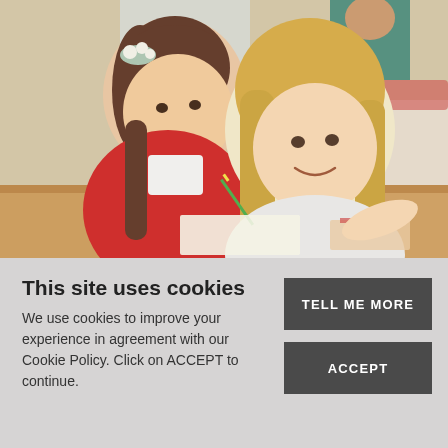[Figure (photo): Two young school girls sitting at a desk in a classroom. The girl on the left wears a red cardigan and has a floral headband, holding a green pencil. The girl on the right has long blonde hair and is smiling, leaning over the desk. A classroom background is visible.]
This site uses cookies
We use cookies to improve your experience in agreement with our Cookie Policy. Click on ACCEPT to continue.
TELL ME MORE
ACCEPT